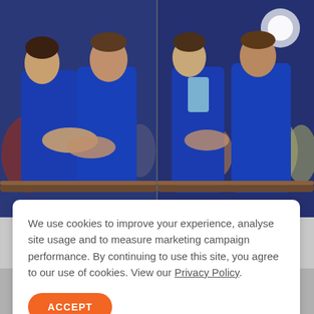[Figure (photo): Two side-by-side video frames showing two men in blue suits embracing and kissing at what appears to be an awards ceremony, with audience members visible in the background.]
We use cookies to improve your experience, analyse site usage and to measure marketing campaign performance. By continuing to use this site, you agree to our use of cookies. View our Privacy Policy.
ACCEPT